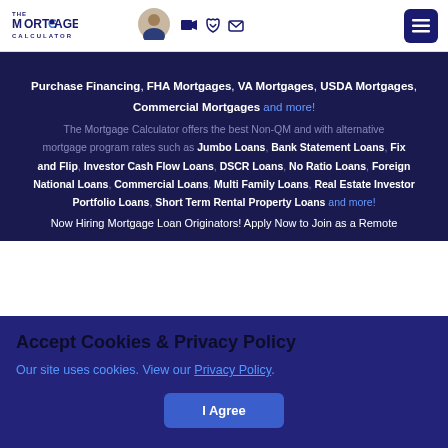[Figure (logo): The Mortgage Calculator logo with stylized text]
Purchase Financing, FHA Mortgages, VA Mortgages, USDA Mortgages, Commercial Mortgages and more!
The Mortgage Calculator offers the best Non-QM and with alternative mortgage program rates such as Jumbo Loans, Bank Statement Loans, Fix and Flip, Investor Cash Flow Loans, DSCR Loans, No Ratio Loans, Foreign National Loans, Commercial Loans, Multi Family Loans, Real Estate Investor Portfolio Loans, Short Term Rental Property Loans and more!
Now Hiring Mortgage Loan Originators! Apply Now to Join as a Remote
Accept Cookies & Privacy Policy
Our site uses cookies. View our Privacy Policy.
I Agree